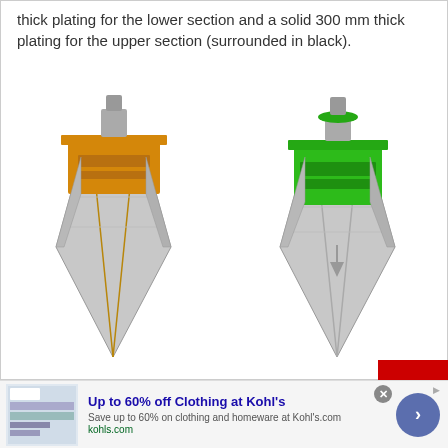thick plating for the lower section and a solid 300 mm thick plating for the upper section (surrounded in black).
[Figure (engineering-diagram): Two side-by-side 3D renderings of a ship hull/keel structure. The left model has the lower/upper section highlighted in orange/gold color. The right model has the upper section highlighted in bright green, showing armor plating zones on the hull structure.]
Up to 60% off Clothing at Kohl's
Save up to 60% on clothing and homeware at Kohl's.com
kohls.com